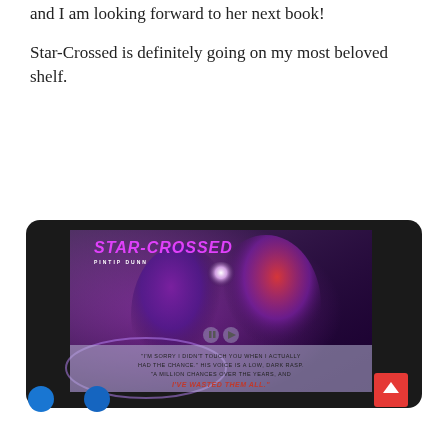and I am looking forward to her next book!
Star-Crossed is definitely going on my most beloved shelf.
[Figure (photo): A tablet device displaying the book cover of Star-Crossed by Pintip Dunn, showing two silhouetted figures leaning toward each other against a cosmic purple and red background, with a quote at the bottom reading: 'I'm sorry I didn't touch you when I actually had the chance.' His voice is a low, dark rasp. 'A million chances over the years, and I'VE WASTED THEM ALL.']